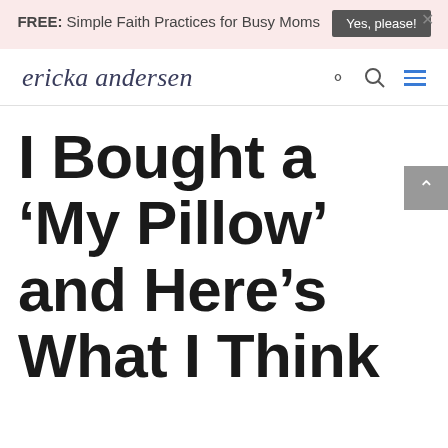FREE: Simple Faith Practices for Busy Moms  Yes, please!
ericka andersen
I Bought a ‘My Pillow’ and Here’s What I Think